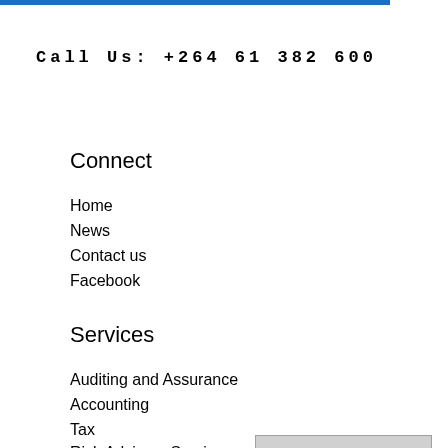Call Us: +264 61 382 600
Connect
Home
News
Contact us
Facebook
Services
Auditing and Assurance
Accounting
Tax
Risk Advisory Services
Secretarial
Manage Cookies